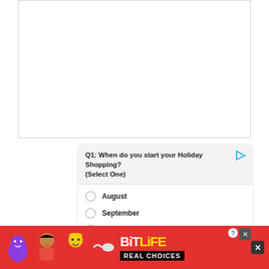[Figure (screenshot): Blank white box with border at top of page]
Q1: When do you start your Holiday Shopping? (Select One)
August
September
October
November
December
1 of 4
[Figure (logo): ZETA logo with diamond icon]
[Figure (screenshot): BitLife REAL CHOICES advertisement banner with emoji characters on red background]